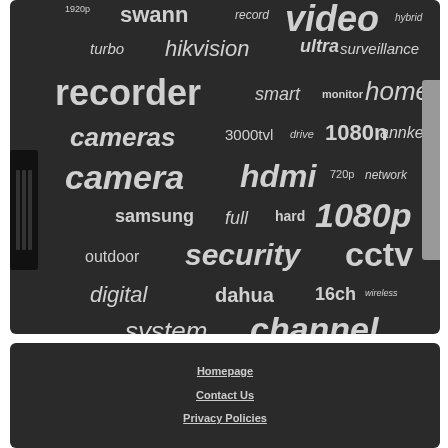[Figure (other): Word cloud on dark background with security/surveillance related terms: video, swann, record, hybrid, 1920p, turbo, hikvision, ultra, surveillance, recorder, smart, monitor, home, cameras, 3000tvl, drive, 1080n, annke, camera, hdmi, 720p, network, samsung, full, hard, 1080p, outdoor, security, cctv, digital, dahua, 16ch, wireless, system, channel. Background shows a DVR/NVR device.]
Homepage
Contact Us
Privacy Policies